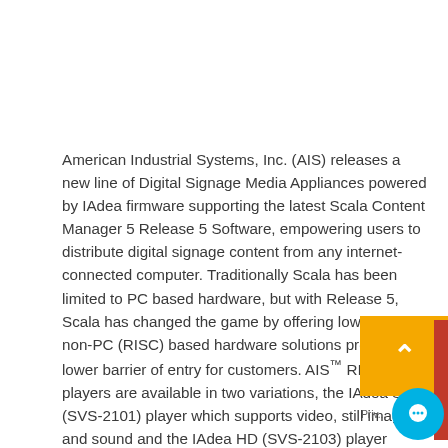American Industrial Systems, Inc. (AIS) releases a new line of Digital Signage Media Appliances powered by IAdea firmware supporting the latest Scala Content Manager 5 Release 5 Software, empowering users to distribute digital signage content from any internet-connected computer. Traditionally Scala has been limited to PC based hardware, but with Release 5, Scala has changed the game by offering lower cost non-PC (RISC) based hardware solutions providing a lower barrier of entry for customers. AIS™ RISC based players are available in two variations, the IAdea SD (SVS-2101) player which supports video, still images, and sound and the IAdea HD (SVS-2103) player which has all the features SD player, but with the added ability to run HD conte... Give patrons control of the experience through the addition of interactive touchscreens and pushbutton... mated with AIS displays and Dakota Audio Focus Audio